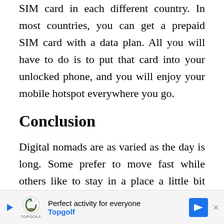SIM card in each different country. In most countries, you can get a prepaid SIM card with a data plan. All you will have to do is to put that card into your unlocked phone, and you will enjoy your mobile hotspot everywhere you go.
Conclusion
Digital nomads are as varied as the day is long. Some prefer to move fast while others like to stay in a place a little bit longer before moving away. How much time a nomad spends in one location boils down to personal preference. You will have to come up with the
[Figure (other): Advertisement banner for Topgolf: 'Perfect activity for everyone' with Topgolf logo and navigation arrow icon.]